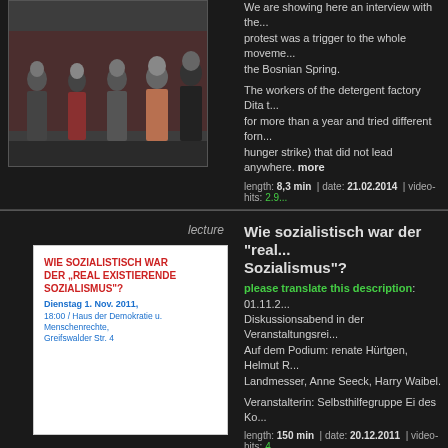[Figure (photo): Group of five people standing outside in front of a red building]
We are showing here an interview with the... protest was a trigger to the whole movement... the Bosnian Spring.
The workers of the detergent factory Dita t... for more than a year and tried different form... hunger strike) that did not lead anywhere. more
length: 8,3 min | date: 21.02.2014 | video-hits: 2.9...
lecture
Wie sozialistisch war der "real... Sozialismus"?
[Figure (photo): Poster for event: WIE SOZIALISTISCH WAR DER REAL EXISTIERENDE SOZIALISMUS? Dienstag 1. Nov. 2011, 18:00 / Haus der Demokratie u. Menschenrechte, Greifswalder Str. 4]
please translate this description: 01.11.2... Diskussionsabend in der Veranstaltungsrei... Auf dem Podium: renate Hürtgen, Helmut R... Landmesser, Anne Seeck, Harry Waibel.
Veranstalterin: Selbsthilfegruppe Ei des Ko...
length: 150 min | date: 20.12.2011 | video-hits: 4....
trailer
Solidarische Ökonomie - 30. 1...